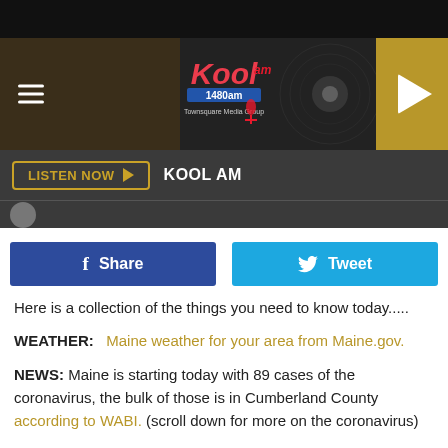[Figure (screenshot): KOOL AM 1400 radio station header banner with logo, vinyl record background, hamburger menu icon, and gold play button]
LISTEN NOW ▶   KOOL AM
f Share   🐦 Tweet
Here is a collection of the things you need to know today.....
WEATHER:   Maine weather for your area from Maine.gov.
NEWS: Maine is starting today with 89 cases of the coronavirus, the bulk of those is in Cumberland County according to WABI. (scroll down for more on the coronavirus)